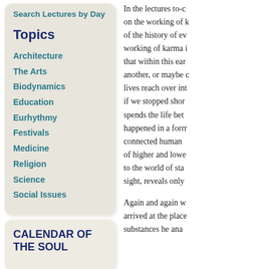Search Lectures by Day
Topics
Architecture
The Arts
Biodynamics
Education
Eurhythmy
Festivals
Medicine
Religion
Science
Social Issues
CALENDAR OF THE SOUL
In the lectures to-date, we have touched on the working of karma in the light of the history of evolution. The working of karma is such a complex that within this earth life one after another, or maybe even several lives reach over into another. Even if we stopped short, the human soul spends the life between death and happened in a former life is connected human beings in the midst of higher and lower beings, related to the world of stars, which, to our sight, reveals only
Again and again we have arrived at the place substances he ana